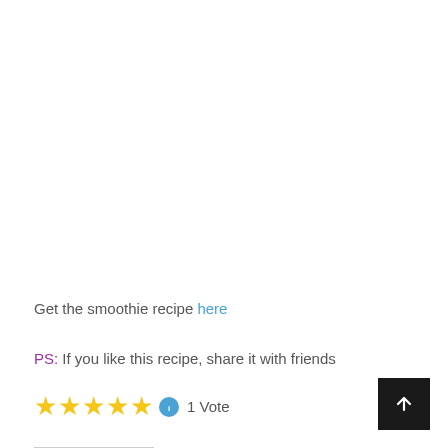Get the smoothie recipe here
PS: If you like this recipe, share it with friends
★★★★★ ℹ 1 Vote